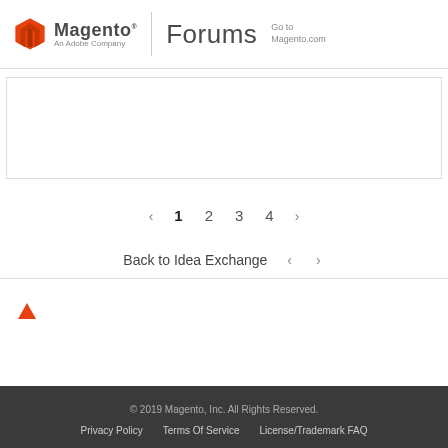Magento An Adobe Company | Forums  Go to Magento.com
[Figure (other): White advertisement/content box with border]
< 1 2 3 4 >
Back to Idea Exchange < >
[Figure (other): Orange upward arrow icon]
© 2019 Magento, Inc. All Rights Reserved. Privacy Policy  Terms Of Service  License/Trademark FAQ